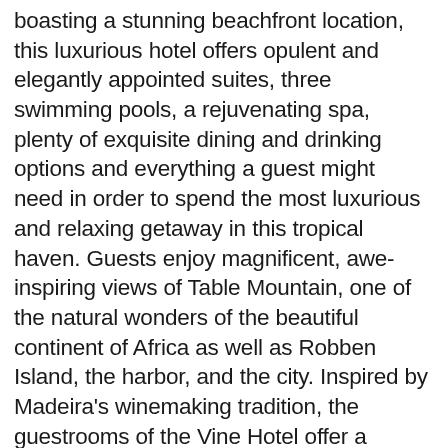boasting a stunning beachfront location, this luxurious hotel offers opulent and elegantly appointed suites, three swimming pools, a rejuvenating spa, plenty of exquisite dining and drinking options and everything a guest might need in order to spend the most luxurious and relaxing getaway in this tropical haven. Guests enjoy magnificent, awe-inspiring views of Table Mountain, one of the natural wonders of the beautiful continent of Africa as well as Robben Island, the harbor, and the city. Inspired by Madeira's winemaking tradition, the guestrooms of the Vine Hotel offer a spiritual experience. Listed in alphabetical order, we are pleased to unveil our 2019 Top 25 Five-Star Hotels and Resorts in the World EXCLUSIVE. Live like a royalty in the famed Burj Al Arab Jumeirah with one-of-a-kind panoramic views from the comforts of your luxurious suites. Delectable dining commences at One Shoe Beach Bar & Grill, Cardamom & Co., and Donovan's Roof. Atop a hill facing